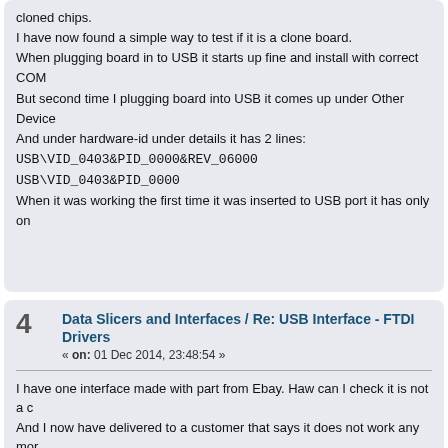cloned chips.
I have now found a simple way to test if it is a clone board.
When plugging board in to USB it starts up fine and install with correct COM
But second time I plugging board into USB it comes up under Other Device
And under hardware-id under details it has 2 lines:
USB\VID_0403&PID_0000&REV_06000
USB\VID_0403&PID_0000
When it was working the first time it was inserted to USB port it has only on
4  Data Slicers and Interfaces / Re: USB Interface - FTDI Drivers
« on: 01 Dec 2014, 23:48:54 »
I have one interface made with part from Ebay. Haw can I check it is not a c
And I now have delivered to a customer that says it does not work any mor
But it seems that interface is running and the needle in PDW is flashing as
5  Data Slicers and Interfaces / Re: Working on a new USB interfac
« on: 07 Nov 2014, 19:50:03 »
I have now received 2 baords but I am not shure about smd R3. what is this
?
So I think I have for hit. There their is R5.